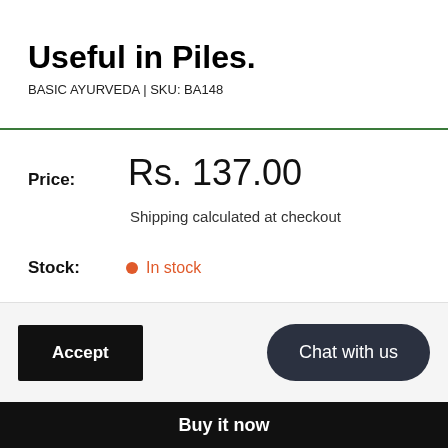Useful in Piles.
BASIC AYURVEDA  |  SKU: BA148
Price:  Rs. 137.00
Shipping calculated at checkout
Stock:  In stock
Quantity:  1
Accept
Chat with us
Buy it now